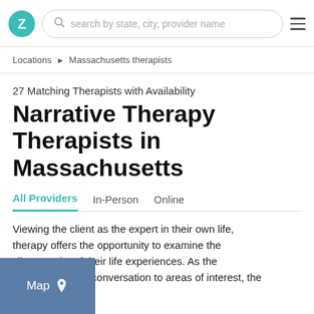Z | search by state, city, provider name
Locations ▶ Massachusetts therapists
27 Matching Therapists with Availability
Narrative Therapy Therapists in Massachusetts
All Providers   In-Person   Online
Viewing the client as the expert in their own life, therapy offers the opportunity to examine the clients make of their life experiences. As the client guides the conversation to areas of interest, the
[Figure (other): Map button overlay with location pin icon]